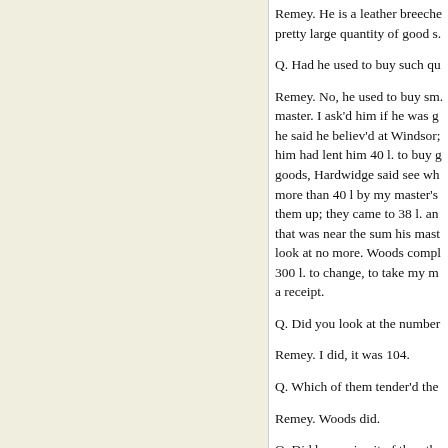Remey. He is a leather breeche... pretty large quantity of good s.
Q. Had he used to buy such qu...
Remey. No, he used to buy sma... master. I ask'd him if he was ge... he said he believ'd at Windsor;... him had lent him 40 l. to buy g... goods, Hardwidge said see wha... more than 40 l by my master's... them up; they came to 38 l. an... that was near the sum his mast... look at no more. Woods compl... 300 l. to change, to take my me... a receipt.
Q. Did you look at the number...
Remey. I did, it was 104.
Q. Which of them tender'd the...
Remey. Woods did.
Q. Did he receive it of the othe...